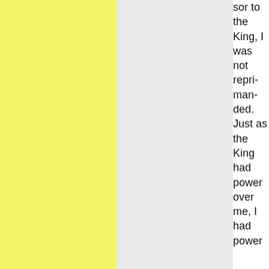sor to the King, I was not reprimanded. Just as the King had power over me, I had power